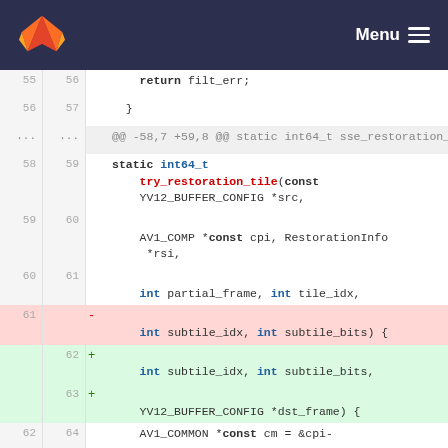GitLab — Menu
[Figure (screenshot): Code diff view showing changes to a C function signature. Lines 55-64 shown with old and new line numbers, additions highlighted green and deletions highlighted red.]